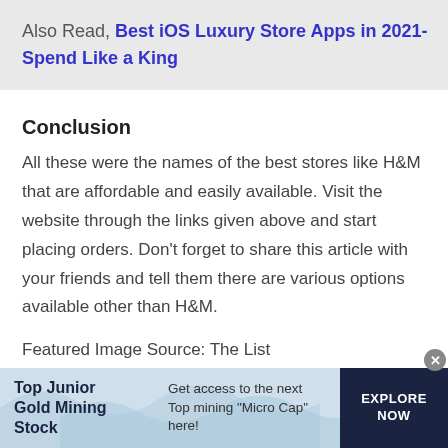Also Read, Best iOS Luxury Store Apps in 2021-Spend Like a King
Conclusion
All these were the names of the best stores like H&M that are affordable and easily available. Visit the website through the links given above and start placing orders. Don't forget to share this article with your friends and tell them there are various options available other than H&M.
Featured Image Source: The List
[Figure (infographic): Advertisement banner for Top Junior Gold Mining Stock. Light blue background with white wave shapes. Text reads 'Top Junior Gold Mining Stock' on left, 'Get access to the next Top mining "Micro Cap" here!' in center, and 'EXPLORE NOW' button on dark navy right panel. Close button (x) in top right corner.]